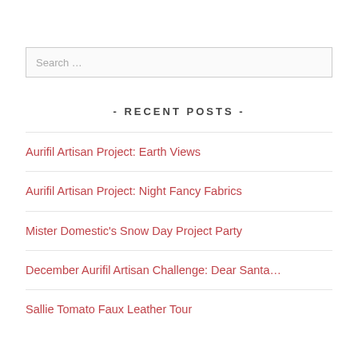Search …
- RECENT POSTS -
Aurifil Artisan Project: Earth Views
Aurifil Artisan Project: Night Fancy Fabrics
Mister Domestic's Snow Day Project Party
December Aurifil Artisan Challenge: Dear Santa…
Sallie Tomato Faux Leather Tour